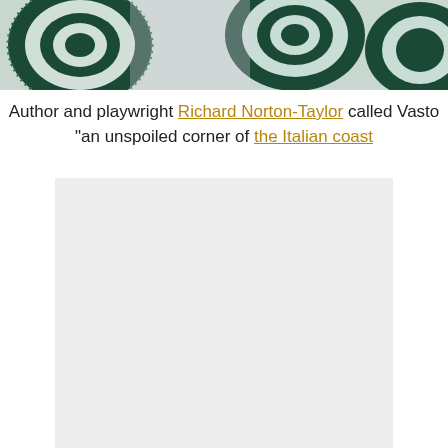[Figure (photo): Close-up photo of dark green and cream/white fuzzy or furry spiral/circular textile or craft items on a light background]
Author and playwright Richard Norton-Taylor called Vasto "an unspoiled corner of the Italian coast
[Figure (photo): A light gray placeholder image area]